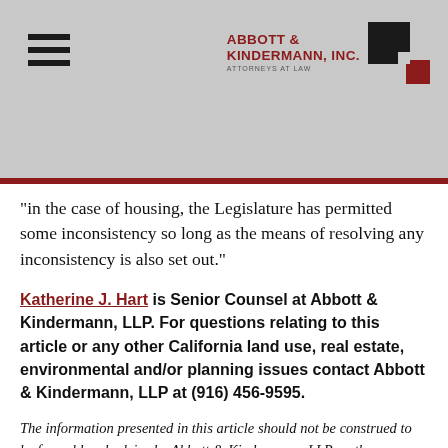Abbott & Kindermann, Inc. — Attorneys at Law
“in the case of housing, the Legislature has permitted some inconsistency so long as the means of resolving any inconsistency is also set out.”
Katherine J. Hart is Senior Counsel at Abbott & Kindermann, LLP. For questions relating to this article or any other California land use, real estate, environmental and/or planning issues contact Abbott & Kindermann, LLP at (916) 456-9595.
The information presented in this article should not be construed to be formal legal advice by Abbott & Kindermann, LLP, or the formation of a lawyer/client relationship. Because of the changing nature of this area